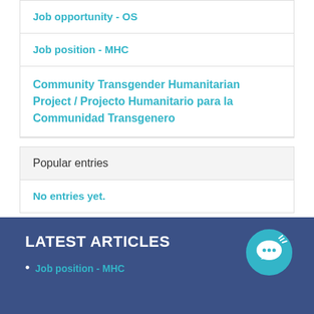Job opportunity - OS
Job position - MHC
Community Transgender Humanitarian Project / Projecto Humanitario para la Communidad Transgenero
Popular entries
No entries yet.
LATEST ARTICLES
Job position - MHC